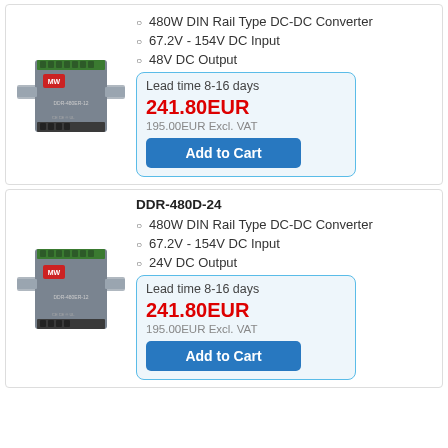[Figure (photo): 480W DIN Rail Type DC-DC Converter product photo - first listing]
480W DIN Rail Type DC-DC Converter
67.2V - 154V DC Input
48V DC Output
Lead time 8-16 days
241.80EUR
195.00EUR Excl. VAT
Add to Cart
[Figure (photo): 480W DIN Rail Type DC-DC Converter product photo - second listing]
DDR-480D-24
480W DIN Rail Type DC-DC Converter
67.2V - 154V DC Input
24V DC Output
Lead time 8-16 days
241.80EUR
195.00EUR Excl. VAT
Add to Cart